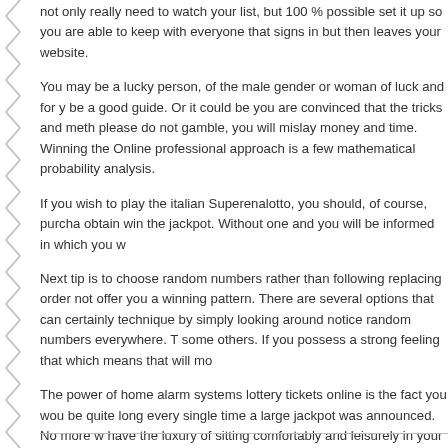not only really need to watch your list, but 100 % possible set it up so you are able to keep with everyone that signs in but then leaves your website.
You may be a lucky person, of the male gender or woman of luck and for you be a good guide. Or it could be you are convinced that the tricks and methods please do not gamble, you will mislay money and time. Winning the Online professional approach is a few mathematical probability analysis.
If you wish to play the italian Superenalotto, you should, of course, purchase obtain win the jackpot. Without one and you will be informed in which you w
Next tip is to choose random numbers rather than following replacing order not offer you a winning pattern. There are several options that can certainly technique by simply looking around notice random numbers everywhere. T some others. If you possess a strong feeling that which means that will mo
The power of home alarm systems lottery tickets online is the fact you wou be quite long every single time a large jackpot was announced. No more w have the luxury of sitting comfortably and leisurely in your chair and selecti
Do you want to sell lottery payments? Let the company which buys your lot your lottery winnings without committing any financial blunders.